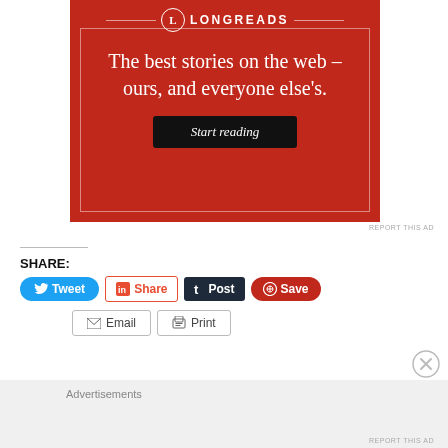[Figure (illustration): Longreads advertisement banner with red background. Shows Longreads logo at top with circular L icon and horizontal lines. Tagline: 'The best stories on the web – ours, and everyone else's.' with a 'Start reading' dark button.]
REPORT THIS AD
SHARE:
Tweet
Share
Post
Save
Email
Print
Advertisements
REPORT THIS AD